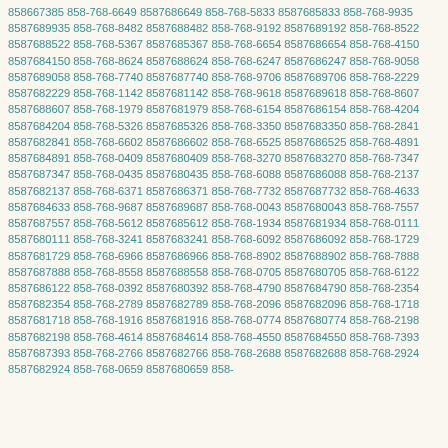858-768-7385 858-768-6649 8587686649 858-768-5833 8587685833 858-768-9935 8587689935 858-768-8482 8587688482 858-768-9192 8587689192 858-768-8522 8587688522 858-768-5367 8587685367 858-768-6654 8587686654 858-768-4150 8587684150 858-768-8624 8587688624 858-768-6247 8587686247 858-768-9058 8587689058 858-768-7740 8587687740 858-768-9706 8587689706 858-768-2229 8587682229 858-768-1142 8587681142 858-768-9618 8587689618 858-768-8607 8587688607 858-768-1979 8587681979 858-768-6154 8587686154 858-768-4204 8587684204 858-768-5326 8587685326 858-768-3350 8587683350 858-768-2841 8587682841 858-768-6602 8587686602 858-768-6525 8587686525 858-768-4891 8587684891 858-768-0409 8587680409 858-768-3270 8587683270 858-768-7347 8587687347 858-768-0435 8587680435 858-768-6088 8587686088 858-768-2137 8587682137 858-768-6371 8587686371 858-768-7732 8587687732 858-768-4633 8587684633 858-768-9687 8587689687 858-768-0043 8587680043 858-768-7557 8587687557 858-768-5612 8587685612 858-768-1934 8587681934 858-768-0111 8587680111 858-768-3241 8587683241 858-768-6092 8587686092 858-768-1729 8587681729 858-768-6966 8587686966 858-768-8902 8587688902 858-768-7888 8587687888 858-768-8558 8587688558 858-768-0705 8587680705 858-768-6122 8587686122 858-768-0392 8587680392 858-768-4790 8587684790 858-768-2354 8587682354 858-768-2789 8587682789 858-768-2096 8587682096 858-768-1718 8587681718 858-768-1916 8587681916 858-768-0774 8587680774 858-768-2198 8587682198 858-768-4614 8587684614 858-768-4550 8587684550 858-768-7393 8587687393 858-768-2766 8587682766 858-768-2688 8587682688 858-768-2924 8587682924 858-768-0659 8587680659 858-